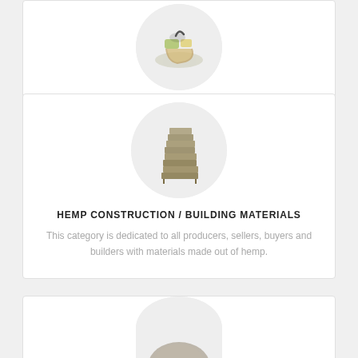[Figure (photo): Circular image of hands working with objects, partially visible at top of card]
HEMP CONSULTING / CONTRACTORS
[Figure (photo): Circular image showing stacked hemp building material blocks/panels]
HEMP CONSTRUCTION / BUILDING MATERIALS
This category is dedicated to all producers, sellers, buyers and builders with materials made out of hemp.
[Figure (photo): Circular image partially visible at bottom showing a hemp or stone material]